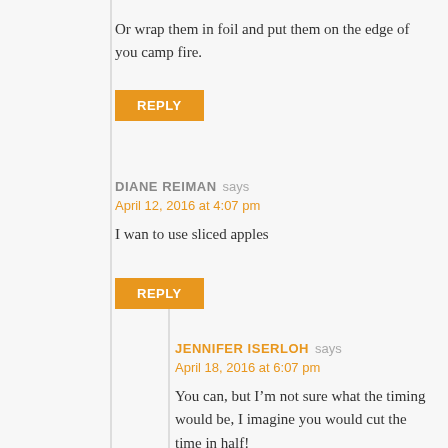Or wrap them in foil and put them on the edge of you camp fire.
REPLY
DIANE REIMAN says
April 12, 2016 at 4:07 pm
I wan to use sliced apples
REPLY
JENNIFER ISERLOH says
April 18, 2016 at 6:07 pm
You can, but I’m not sure what the timing would be, I imagine you would cut the time in half!
REPLY